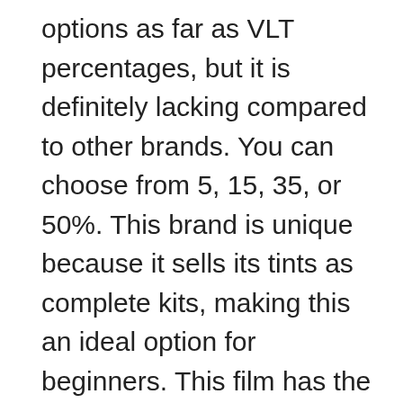options as far as VLT percentages, but it is definitely lacking compared to other brands. You can choose from 5, 15, 35, or 50%. This brand is unique because it sells its tints as complete kits, making this an ideal option for beginners. This film has the ability to properly disperse up to 99% of heat and harmful UV rays, so consider this option if you live in a particularly sunny area!